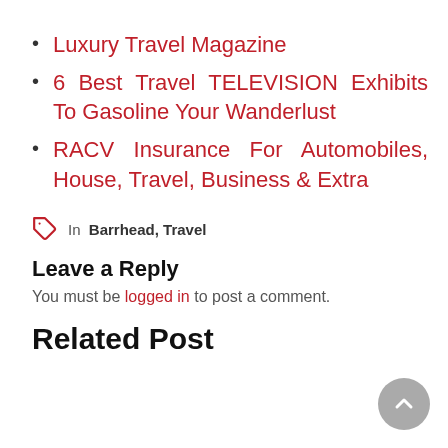Luxury Travel Magazine
6 Best Travel TELEVISION Exhibits To Gasoline Your Wanderlust
RACV Insurance For Automobiles, House, Travel, Business & Extra
In Barrhead, Travel
Leave a Reply
You must be logged in to post a comment.
Related Post